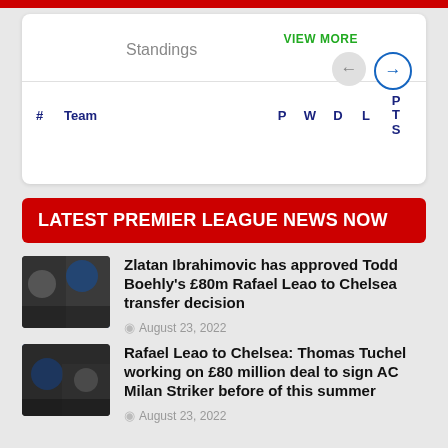[Figure (screenshot): Red top navigation bar]
| # | Team | P | W | D | L | PTS |
| --- | --- | --- | --- | --- | --- | --- |
LATEST PREMIER LEAGUE NEWS NOW
[Figure (photo): Football players photo thumbnail for Zlatan Ibrahimovic / Rafael Leao article]
Zlatan Ibrahimovic has approved Todd Boehly's £80m Rafael Leao to Chelsea transfer decision
August 23, 2022
[Figure (photo): Football players photo thumbnail for Thomas Tuchel / Rafael Leao article]
Rafael Leao to Chelsea: Thomas Tuchel working on £80 million deal to sign AC Milan Striker before of this summer
August 23, 2022